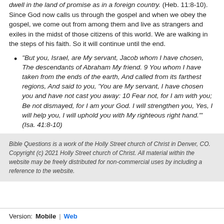dwell in the land of promise as in a foreign country. (Heb. 11:8-10). Since God now calls us through the gospel and when we obey the gospel, we come out from among them and live as strangers and exiles in the midst of those citizens of this world. We are walking in the steps of his faith. So it will continue until the end.
“But you, Israel, are My servant, Jacob whom I have chosen, The descendants of Abraham My friend. 9 You whom I have taken from the ends of the earth, And called from its farthest regions, And said to you, ‘You are My servant, I have chosen you and have not cast you away: 10 Fear not, for I am with you; Be not dismayed, for I am your God. I will strengthen you, Yes, I will help you, I will uphold you with My righteous right hand.’” (Isa. 41:8-10)
Bible Questions is a work of the Holly Street church of Christ in Denver, CO. Copyright (c) 2021 Holly Street church of Christ. All material within the website may be freely distributed for non-commercial uses by including a reference to the website.
Version:  Mobile  |  Web